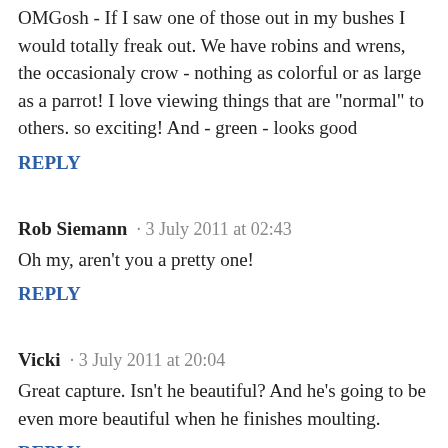OMGosh - If I saw one of those out in my bushes I would totally freak out. We have robins and wrens, the occasionaly crow - nothing as colorful or as large as a parrot! I love viewing things that are "normal" to others. so exciting! And - green - looks good
REPLY
Rob Siemann · 3 July 2011 at 02:43
Oh my, aren't you a pretty one!
REPLY
Vicki · 3 July 2011 at 20:04
Great capture. Isn't he beautiful? And he's going to be even more beautiful when he finishes moulting.
REPLY